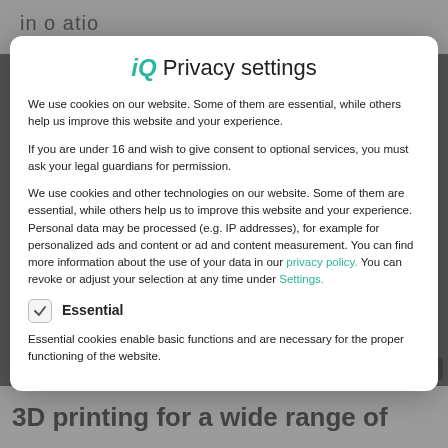iQ Privacy settings
We use cookies on our website. Some of them are essential, while others help us improve this website and your experience.
If you are under 16 and wish to give consent to optional services, you must ask your legal guardians for permission.
We use cookies and other technologies on our website. Some of them are essential, while others help us to improve this website and your experience. Personal data may be processed (e.g. IP addresses), for example for personalized ads and content or ad and content measurement. You can find more information about the use of your data in our privacy policy. You can revoke or adjust your selection at any time under Settings.
Essential
Essential cookies enable basic functions and are necessary for the proper functioning of the website.